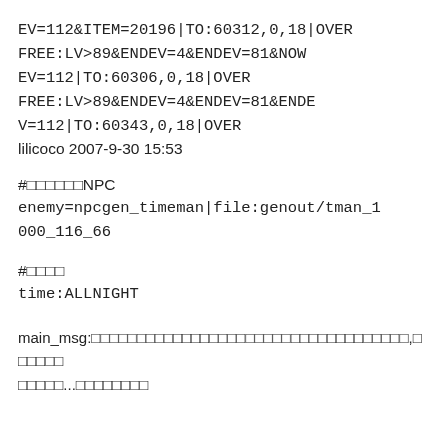EV=112&ITEM=20196|TO:60312,0,18|OVER FREE:LV>89&ENDEV=4&ENDEV=81&NOWEV=112|TO:60306,0,18|OVER FREE:LV>89&ENDEV=4&ENDEV=81&ENDEV=112|TO:60343,0,18|OVER
lilicoco 2007-9-30 15:53
#□□□□□□NPC
enemy=npcgen_timeman|file:genout/tman_1000_116_66
#□□□□
time:ALLNIGHT
main_msg:□□□□□□□□□□□□□□□□□□□□□□□□□□□□□□□□□□□,□□□□□□□□□□□...□□□□□□□□